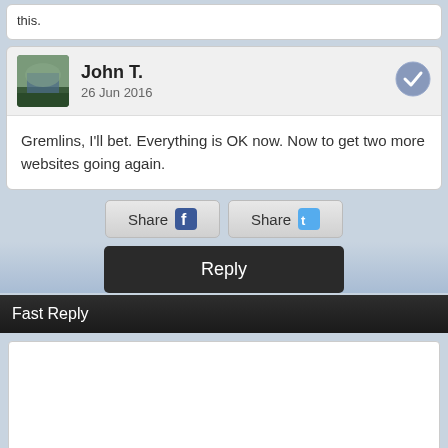this.
John T. — 26 Jun 2016
Gremlins, I'll bet.  Everything is OK now.  Now to get two more websites going again.
[Figure (screenshot): Share on Facebook button]
[Figure (screenshot): Share on Twitter button]
[Figure (screenshot): Reply button (dark)]
Fast Reply
[Figure (screenshot): Text area for fast reply]
[Figure (screenshot): Post button]